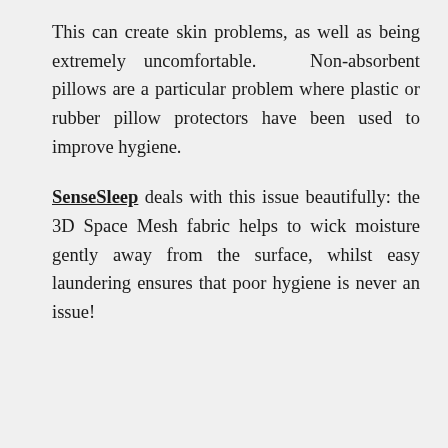This can create skin problems, as well as being extremely uncomfortable. Non-absorbent pillows are a particular problem where plastic or rubber pillow protectors have been used to improve hygiene.
SenseSleep deals with this issue beautifully: the 3D Space Mesh fabric helps to wick moisture gently away from the surface, whilst easy laundering ensures that poor hygiene is never an issue!